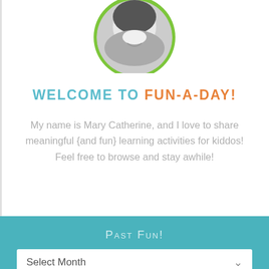[Figure (photo): Circular profile photo of a woman smiling, shown in black and white with a green circular border, cropped at the top of the page]
WELCOME TO FUN-A-DAY!
My name is Mary Catherine, and I love to share meaningful {and fun} learning activities for kiddos! Feel free to browse and stay awhile!
Past Fun!
Select Month